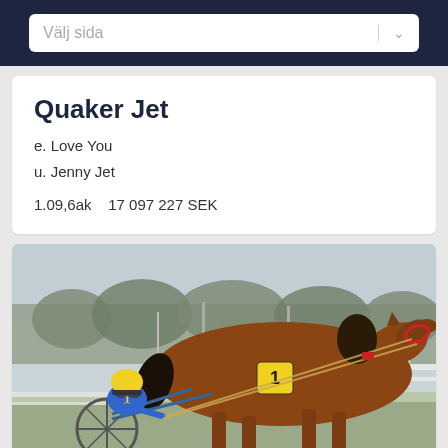Välj sida
Quaker Jet
e. Love You
u. Jenny Jet
1.09,6ak   17 097 227 SEK
[Figure (photo): A harness racing horse numbered 1 in action on a track, ridden by a jockey in blue and yellow outfit with a yellow helmet. Trees visible in background.]